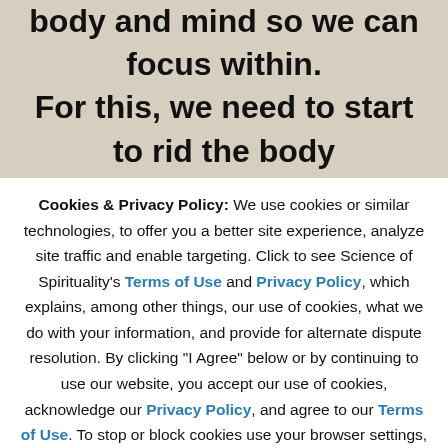love and mind, we need first to calm our body and mind so we can focus within. For this, we need to start to rid the body ...
Cookies & Privacy Policy: We use cookies or similar technologies, to offer you a better site experience, analyze site traffic and enable targeting. Click to see Science of Spirituality's Terms of Use and Privacy Policy, which explains, among other things, our use of cookies, what we do with your information, and provide for alternate dispute resolution. By clicking "I Agree" below or by continuing to use our website, you accept our use of cookies, acknowledge our Privacy Policy, and agree to our Terms of Use. To stop or block cookies use your browser settings, refer to the Privacy Policy for more details.
I Agree